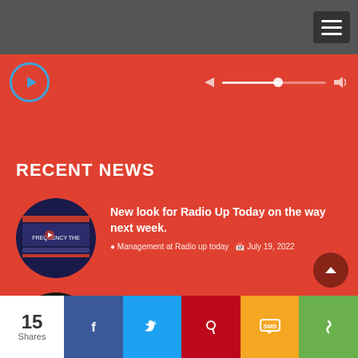[Figure (screenshot): Radio player bar with blue play button circle, seek bar with dot marker, and volume icon on red background]
RECENT NEWS
[Figure (photo): Circular thumbnail showing a radio website screenshot with 'FREQUENCY THE' text]
New look for Radio Up Today on the way next week.
Management at Radio up today   July 19, 2022
[Figure (photo): Circular vinyl record image with gold D letter on dark background]
This months featured single is Loving Caliber, by Varg
15 Shares  [Facebook] [Twitter] [Pinterest] [SMS] [More]